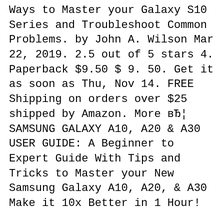Ways to Master your Galaxy S10 Series and Troubleshoot Common Problems. by John A. Wilson Mar 22, 2019. 2.5 out of 5 stars 4. Paperback $9.50 $ 9. 50. Get it as soon as Thu, Nov 14. FREE Shipping on orders over $25 shipped by Amazon. More вЂ¦ SAMSUNG GALAXY A10, A20 & A30 USER GUIDE: A Beginner to Expert Guide With Tips and Tricks to Master your New Samsung Galaxy A10, A20, & A30 Make it 10x Better in 1 Hour!
User guide. GuГa del usuario. User guide. GH68-45567A Printed in USA SM-G930V Galaxy S7-UG-PO-CVR-6x4-V3-F-R2R.indd All Pages 2/22/16 10:18 AM. SMARTPHONE User Manual Please read